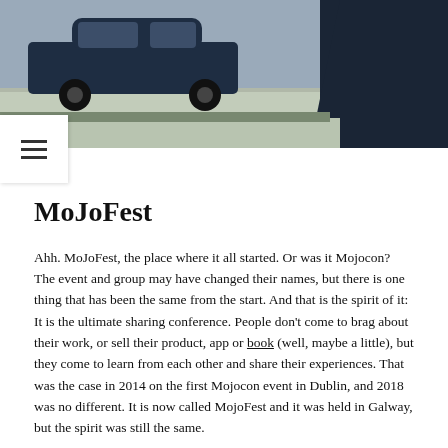[Figure (photo): Outdoor scene showing a dark blue car parked on a driveway/pavement, with a person in a dark hoodie visible on the right side of the image.]
MoJoFest
Ahh. MoJoFest, the place where it all started. Or was it Mojocon? The event and group may have changed their names, but there is one thing that has been the same from the start. And that is the spirit of it: It is the ultimate sharing conference. People don't come to brag about their work, or sell their product, app or book (well, maybe a little), but they come to learn from each other and share their experiences. That was the case in 2014 on the first Mojocon event in Dublin, and 2018 was no different. It is now called MojoFest and it was held in Galway, but the spirit was still the same.